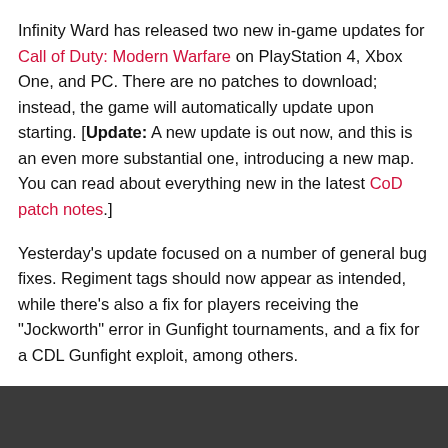Infinity Ward has released two new in-game updates for Call of Duty: Modern Warfare on PlayStation 4, Xbox One, and PC. There are no patches to download; instead, the game will automatically update upon starting. [Update: A new update is out now, and this is an even more substantial one, introducing a new map. You can read about everything new in the latest CoD patch notes.]
Yesterday's update focused on a number of general bug fixes. Regiment tags should now appear as intended, while there's also a fix for players receiving the "Jockworth" error in Gunfight tournaments, and a fix for a CDL Gunfight exploit, among others.
[Figure (other): Video player placeholder with dark gray background showing 'LOADING VIDEO...' text in center]